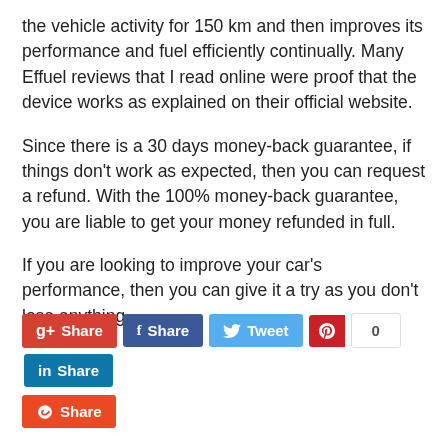the vehicle activity for 150 km and then improves its performance and fuel efficiently continually. Many Effuel reviews that I read online were proof that the device works as explained on their official website.
Since there is a 30 days money-back guarantee, if things don't work as expected, then you can request a refund. With the 100% money-back guarantee, you are liable to get your money refunded in full.
If you are looking to improve your car's performance, then you can give it a try as you don't lose anything.
[Figure (infographic): Social sharing buttons row: Google+ Share (red), Facebook Share (dark blue), Twitter Tweet (light blue), Pinterest button with count 0 (red + white count box), LinkedIn Share (dark teal), Stumbleupon Share (red/orange) on second row]